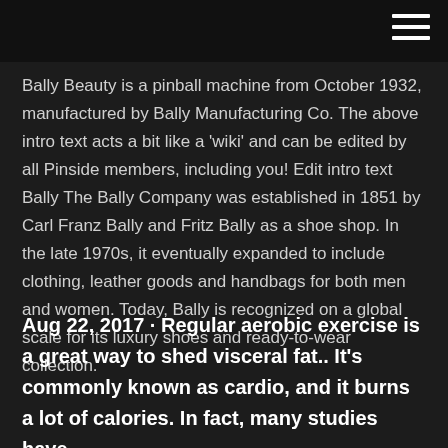Bally Beauty is a pinball machine from October 1932, manufactured by Bally Manufacturing Co. The above intro text acts a bit like a 'wiki' and can be edited by all Pinside members, including you! Edit intro text Bally The Bally Company was established in 1851 by Carl Franz Bally and Fritz Bally as a shoe shop. In the late 1970s, it eventually expanded to include clothing, leather goods and handbags for both men and women. Today, Bally is recognized on a global scale for its luxury shoes and ready-to-wear collection.
Aug 22, 2017 · Regular aerobic exercise is a great way to shed visceral fat.. It's commonly known as cardio, and it burns a lot of calories. In fact, many studies have